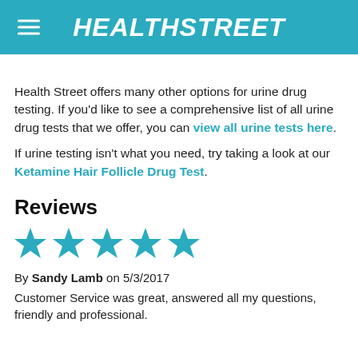HEALTH STREET
(partial heading — cut off)
Health Street offers many other options for urine drug testing. If you'd like to see a comprehensive list of all urine drug tests that we offer, you can view all urine tests here.
If urine testing isn't what you need, try taking a look at our Ketamine Hair Follicle Drug Test.
Reviews
[Figure (other): Five teal/blue star rating icons representing a 5-star review]
By Sandy Lamb on 5/3/2017
Customer Service was great, answered all my questions, friendly and professional.